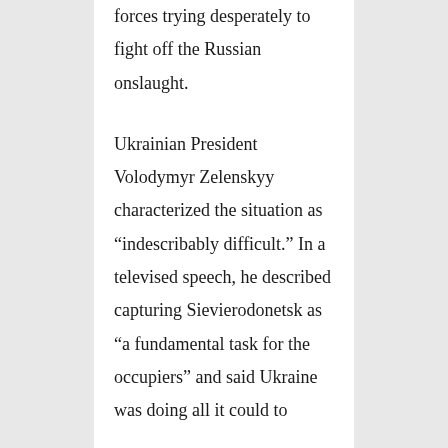forces trying desperately to fight off the Russian onslaught.
Ukrainian President Volodymyr Zelenskyy characterized the situation as “indescribably difficult.” In a televised speech, he described capturing Sievierodonetsk as “a fundamental task for the occupiers” and said Ukraine was doing all it could to